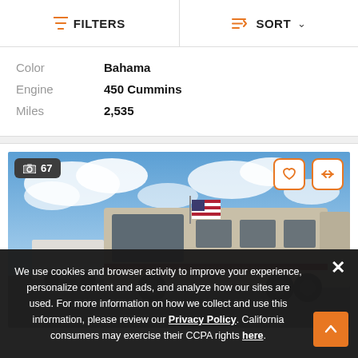FILTERS   SORT
| Color | Bahama |
| Engine | 450 Cummins |
| Miles | 2,535 |
[Figure (photo): RV motorhome with American flag parked outdoors under a partly cloudy sky, photo count badge showing 67 images]
We use cookies and browser activity to improve your experience, personalize content and ads, and analyze how our sites are used. For more information on how we collect and use this information, please review our Privacy Policy. California consumers may exercise their CCPA rights here.